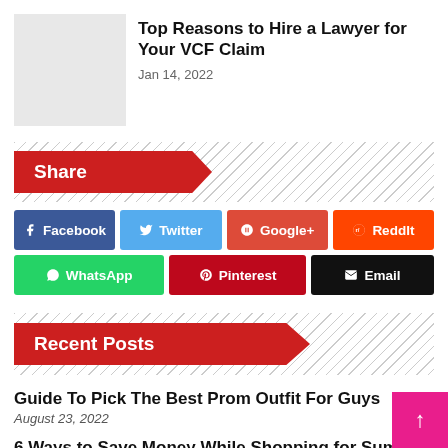[Figure (photo): Gray placeholder thumbnail image for article]
Top Reasons to Hire a Lawyer for Your VCF Claim
Jan 14, 2022
Share
Facebook
Twitter
Google+
ReddIt
WhatsApp
Pinterest
Email
Recent Posts
Guide To Pick The Best Prom Outfit For Guys
August 23, 2022
6 Ways to Save Money While Shopping for Summer